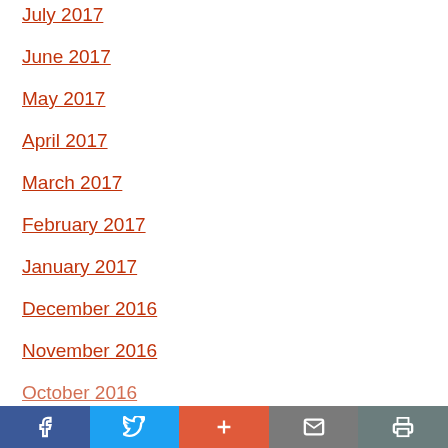July 2017
June 2017
May 2017
April 2017
March 2017
February 2017
January 2017
December 2016
November 2016
October 2016